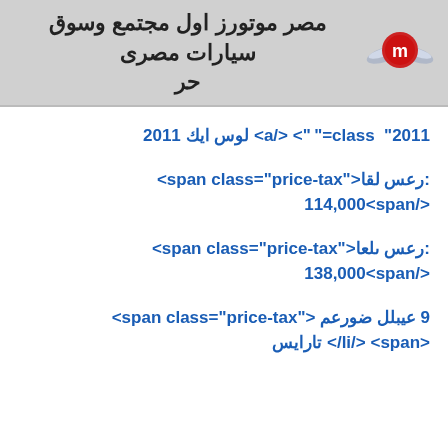مصر موتورز اول مجتمع وسوق سيارات مصرى حر
2011 كيا سول <a/> <""=class "2011
<span class="price-tax">اقل سعر: 
114,000<span/>
<span class="price-tax">اعلى سعر: 
138,000<span/>
<span class="price-tax"> معروض للبيع 9 سيارات </li/> <span>